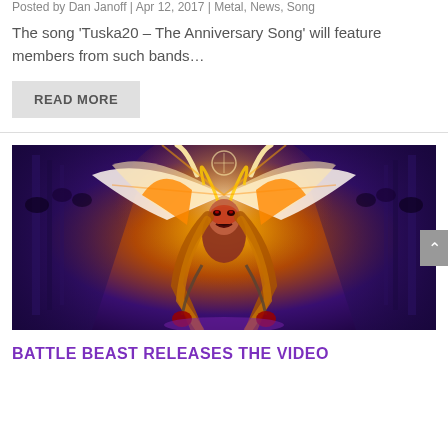Posted by Dan Janoff | Apr 12, 2017 | Metal, News, Song
The song ‘Tuska20 – The Anniversary Song’ will feature members from such bands…
READ MORE
[Figure (illustration): Fantasy/metal artwork showing a fierce woman with glowing fiery hair, wings, in a dramatic arena setting with purple and orange lighting]
BATTLE BEAST RELEASES THE VIDEO